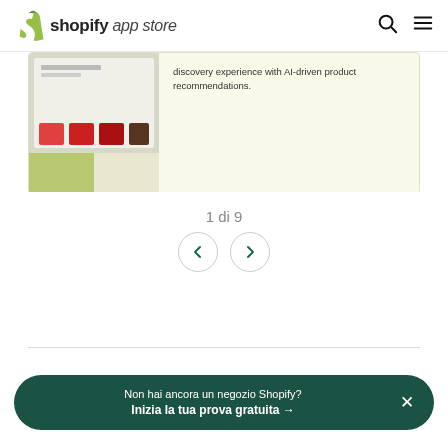shopify app store
[Figure (screenshot): Partial screenshot of a Shopify app store product page showing a product carousel with red items and text about AI-driven product recommendations]
1 di 9
[Figure (illustration): Navigation buttons with left and right chevron arrows in circles]
Non hai ancora un negozio Shopify? Inizia la tua prova gratuita →